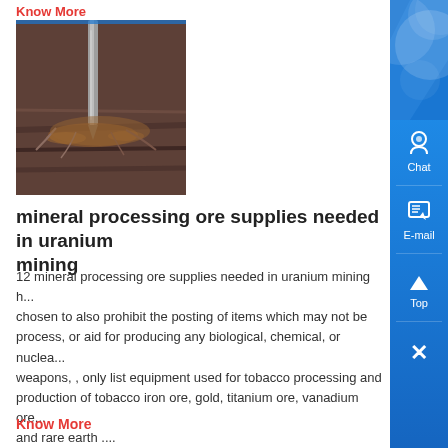Know More
[Figure (photo): Close-up photo of a drill bit drilling into a wooden surface with metal shavings and splashes around the drill point]
mineral processing ore supplies needed in uranium mining
12 mineral processing ore supplies needed in uranium mining h... chosen to also prohibit the posting of items which may not be process, or aid for producing any biological, chemical, or nuclea weapons, , only list equipment used for tobacco processing and production of tobacco iron ore, gold, titanium ore, vanadium ore and rare earth ....
Know More